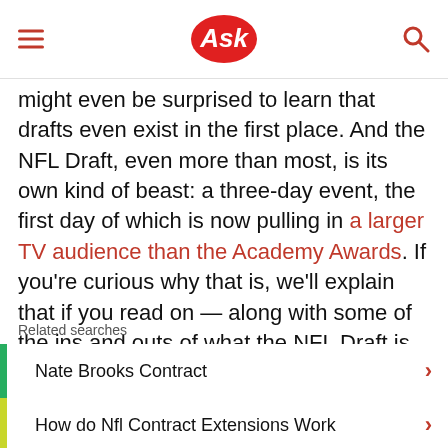Ask
might even be surprised to learn that drafts even exist in the first place. And the NFL Draft, even more than most, is its own kind of beast: a three-day event, the first day of which is now pulling in a larger TV audience than the Academy Awards. If you're curious why that is, we'll explain that if you read on — along with some of the ins and outs of what the NFL Draft is and why it exists in the first place.
Related searches
Nate Brooks Contract
How do Nfl Contract Extensions Work